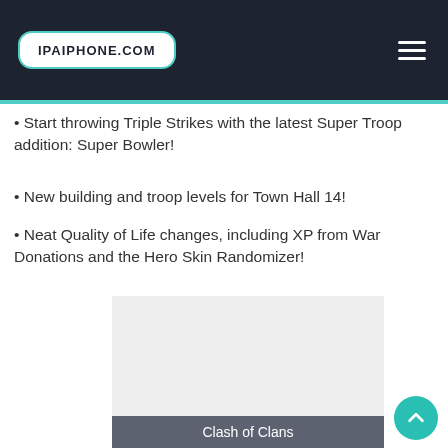IPAIPHONE.COM
Start throwing Triple Strikes with the latest Super Troop addition: Super Bowler!
New building and troop levels for Town Hall 14!
Neat Quality of Life changes, including XP from War Donations and the Hero Skin Randomizer!
[Figure (photo): Gray placeholder image area]
Clash of Clans